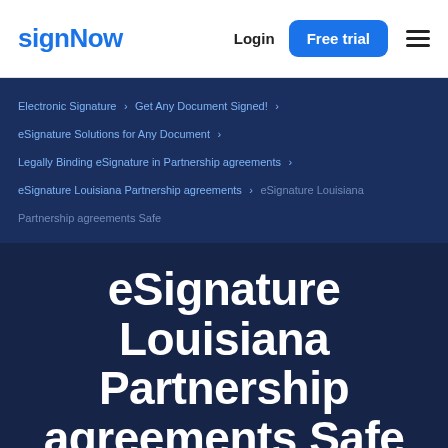signNow   Login   Free trial
Electronic Signature › Get Any Document Signed! › eSignature Solutions for Any Document › Legally Binding eSignature in Partnership agreements › eSignature Louisiana Partnership agreements › eSignature Louisiana Partnership agreements Safe
eSignature Louisiana Partnership agreements Safe
Check out eSignature for Partnership agreements Louisiana Safe function from signNow. Speed up business document